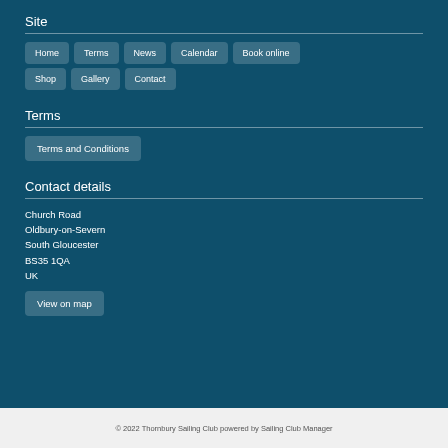Site
Home
Terms
News
Calendar
Book online
Shop
Gallery
Contact
Terms
Terms and Conditions
Contact details
Church Road
Oldbury-on-Severn
South Gloucester
BS35 1QA
UK
View on map
© 2022 Thornbury Sailing Club powered by Sailing Club Manager